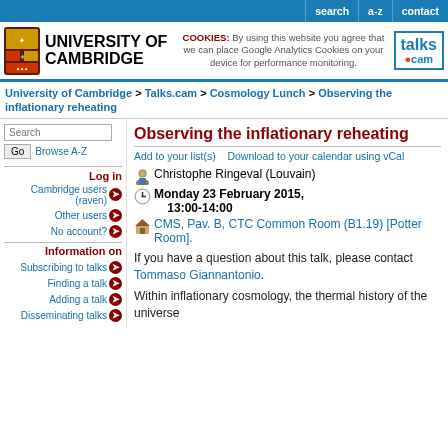search  a-z  contact
[Figure (logo): University of Cambridge shield logo and wordmark, plus talks.cam logo and cookie notice]
University of Cambridge > Talks.cam > Cosmology Lunch > Observing the inflationary reheating
Observing the inflationary reheating
Add to your list(s)    Download to your calendar using vCal
Christophe Ringeval (Louvain)
Monday 23 February 2015, 13:00-14:00
CMS, Pav. B, CTC Common Room (B1.19) [Potter Room].
Log in
Cambridge users (raven)
Other users
No account?
Information on
Subscribing to talks
Finding a talk
Adding a talk
Disseminating talks
If you have a question about this talk, please contact Tommaso Giannantonio.
Within inflationary cosmology, the thermal history of the universe